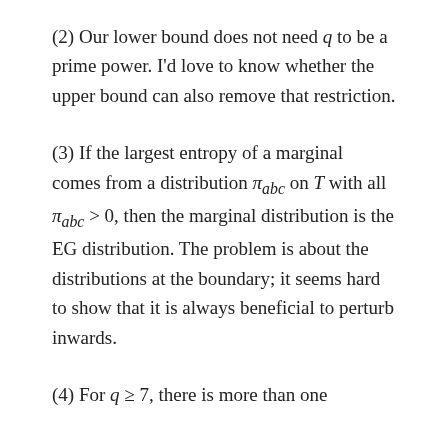(2) Our lower bound does not need q to be a prime power. I'd love to know whether the upper bound can also remove that restriction.
(3) If the largest entropy of a marginal comes from a distribution π_abc on T with all π_abc > 0, then the marginal distribution is the EG distribution. The problem is about the distributions at the boundary; it seems hard to show that it is always beneficial to perturb inwards.
(4) For q ≥ 7, there is more than one